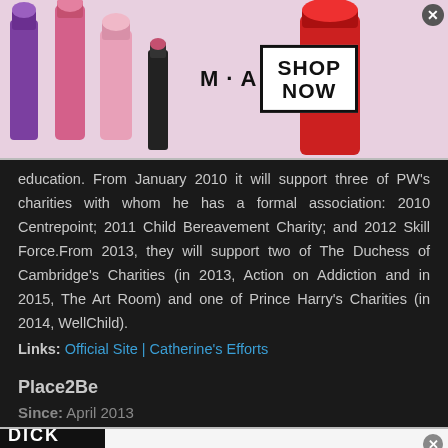[Figure (screenshot): MAC Cosmetics advertisement banner showing lipsticks and SHOP NOW button]
education. From January 2010 it will support three of PW's charities with whom he has a formal association: 2010 Centrepoint; 2011 Child Bereavement Charity; and 2012 Skill Force.From 2013, they will support two of The Duchess of Cambridge's Charities (in 2013, Action on Addiction and in 2015, The Art Room) and one of Prince Harry's Charities (in 2014, WellChild).
Links: Official Site | Catherine's Efforts
Place2Be
Since: April 2013
[Figure (screenshot): Dickies advertisement banner with logo, text and arrow button]